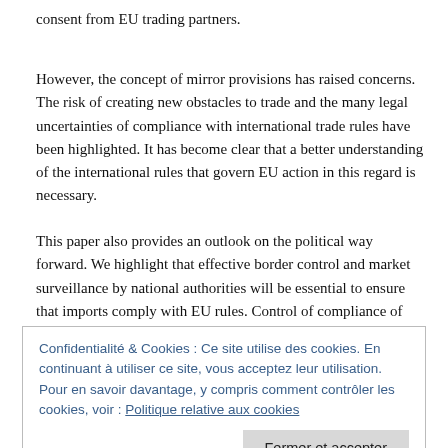consent from EU trading partners.
However, the concept of mirror provisions has raised concerns. The risk of creating new obstacles to trade and the many legal uncertainties of compliance with international trade rules have been highlighted. It has become clear that a better understanding of the international rules that govern EU action in this regard is necessary.
This paper also provides an outlook on the political way forward. We highlight that effective border control and market surveillance by national authorities will be essential to ensure that imports comply with EU rules. Control of compliance of product standards is much easier (i.e., for food
Confidentialité & Cookies : Ce site utilise des cookies. En continuant à utiliser ce site, vous acceptez leur utilisation. Pour en savoir davantage, y compris comment contrôler les cookies, voir : Politique relative aux cookies
Fermer et accepter